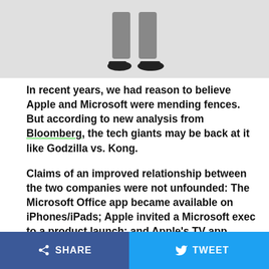[Figure (photo): Lower half of a person in grey suit trousers and black shoes standing with legs apart on a white background, photo cropped at waist.]
In recent years, we had reason to believe Apple and Microsoft were mending fences. But according to new analysis from Bloomberg, the tech giants may be back at it like Godzilla vs. Kong.
Claims of an improved relationship between the two companies were not unfounded: The Microsoft Office app became available on iPhones/iPads; Apple invited a Microsoft exec to a product launch; and Apple's TV app showed up on the Xbox.
SHARE   TWEET   ...